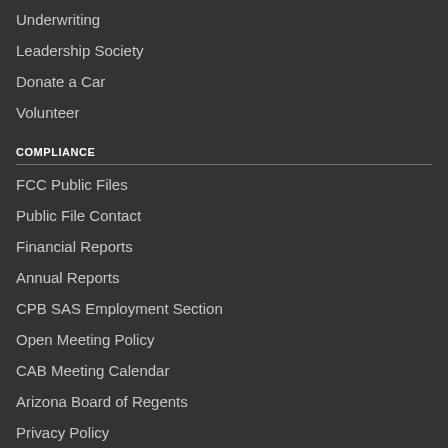Underwriting
Leadership Society
Donate a Car
Volunteer
COMPLIANCE
FCC Public Files
Public File Contact
Financial Reports
Annual Reports
CPB SAS Employment Section
Open Meeting Policy
CAB Meeting Calendar
Arizona Board of Regents
Privacy Policy